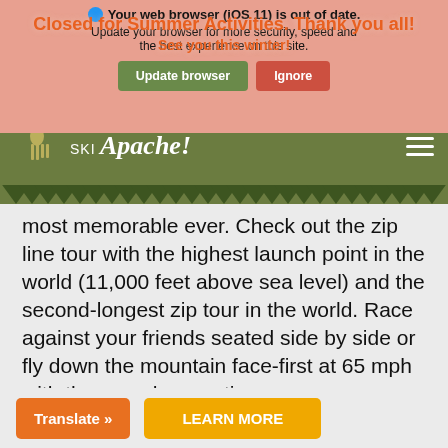Your web browser (iOS 11) is out of date. Update your browser for more security, speed and the best experience on this site.
Closed for Summer Activities. Thank you all! See you this winter!
[Figure (logo): Ski Apache logo with deer/elk silhouette on olive green navigation bar, hamburger menu icon on right]
most memorable ever. Check out the zip line tour with the highest launch point in the world (11,000 feet above sea level) and the second-longest zip tour in the world. Race against your friends seated side by side or fly down the mountain face-first at 65 mph with the superhero option.
Translate »
LEARN MORE